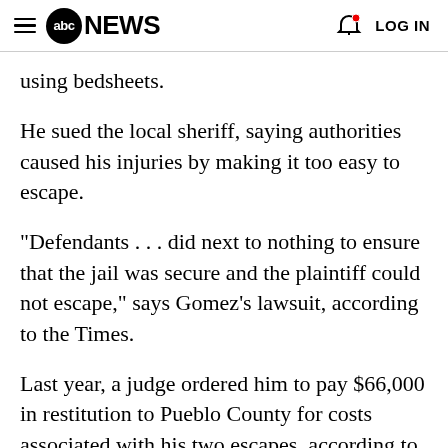abc NEWS  LOG IN
using bedsheets.
He sued the local sheriff, saying authorities caused his injuries by making it too easy to escape.
"Defendants . . . did next to nothing to ensure that the jail was secure and the plaintiff could not escape," says Gomez's lawsuit, according to the Times.
Last year, a judge ordered him to pay $66,000 in restitution to Pueblo County for costs associated with his two escapes, according to the Pueblo Chieftain newspaper.